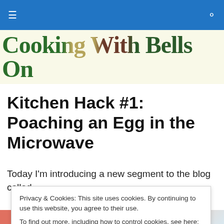≡  🔍
Cooking With Bells On
Kitchen Hack #1: Poaching an Egg in the Microwave
Today I'm introducing a new segment to the blog called Kitchen Hacks, where I share with you some of the little
Privacy & Cookies: This site uses cookies. By continuing to use this website, you agree to their use.
To find out more, including how to control cookies, see here: Cookie Policy
Close and accept
[Figure (photo): Partial view of a food photo at the bottom of the page, showing reddish and light-colored food items]